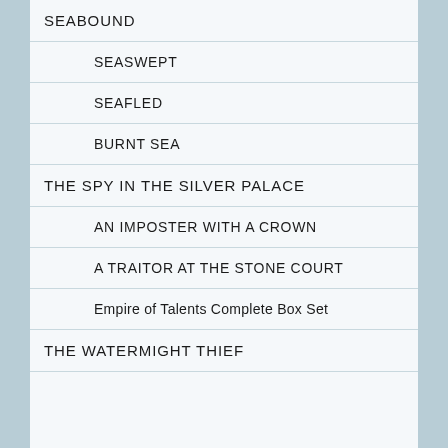SEABOUND
SEASWEPT
SEAFLED
BURNT SEA
THE SPY IN THE SILVER PALACE
AN IMPOSTER WITH A CROWN
A TRAITOR AT THE STONE COURT
Empire of Talents Complete Box Set
THE WATERMIGHT THIEF